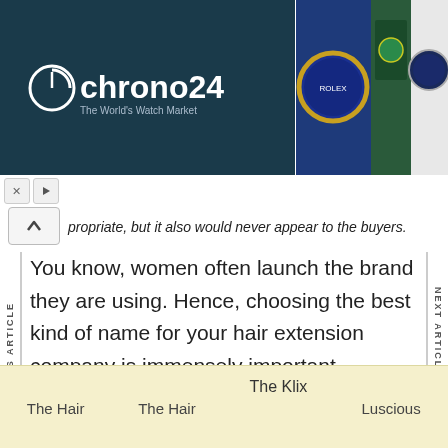[Figure (screenshot): Chrono24 advertisement banner showing the Chrono24 logo on dark background alongside photos of luxury watches including blue Rolex Submariner watches in green boxes]
propriate, but it also would never appear to the buyers.
You know, women often launch the brand they are using. Hence, choosing the best kind of name for your hair extension company is immensely important.
Now let's take a look at some of the best hair extension branch names:
| The Hair | The Hair | The Klix | Luscious |
| --- | --- | --- | --- |